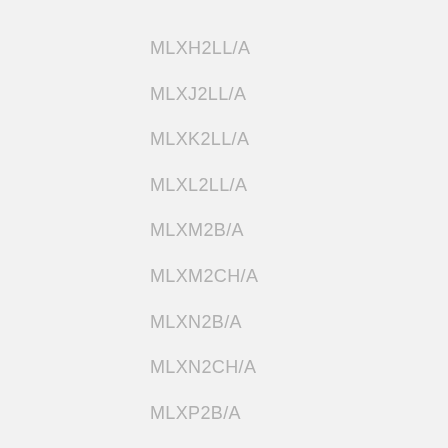MLXH2LL/A
MLXJ2LL/A
MLXK2LL/A
MLXL2LL/A
MLXM2B/A
MLXM2CH/A
MLXN2B/A
MLXN2CH/A
MLXP2B/A
MLXP2CH/A
MLXQ2B/A